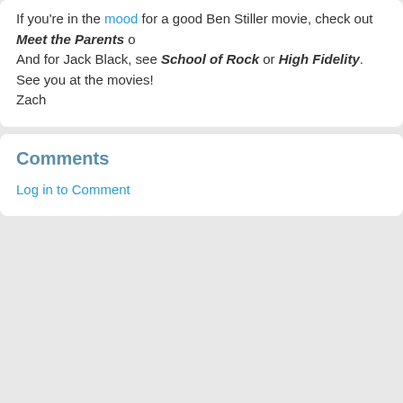If you're in the mood for a good Ben Stiller movie, check out Meet the Parents or And for Jack Black, see School of Rock or High Fidelity. See you at the movies! Zach
Comments
Log in to Comment
Learn English | Find Friends | English Lessons | English Grammar | Vocab | Ebaby! TV | Celebrity English Lessons | English Chat | English Forums | English Blogs | Member Photos | Search